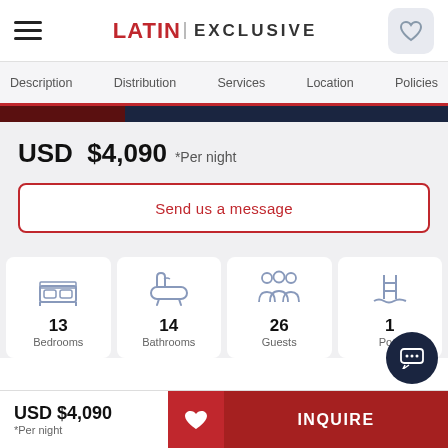LATIN EXCLUSIVE
Description  Distribution  Services  Location  Policies
USD $4,090  *Per night
Send us a message
[Figure (infographic): Four amenity cards: 13 Bedrooms, 14 Bathrooms, 26 Guests, 1 Pool with respective icons]
USD $4,090  *Per night  INQUIRE